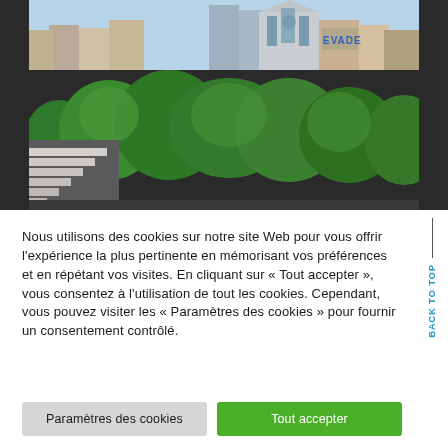[Figure (photo): Aerial/elevated view of a French city with trees, a Gothic cathedral, rooftops and buildings including graffiti text 'EVADE' in blue on a building facade. Steps or terrace visible in foreground left.]
Nous utilisons des cookies sur notre site Web pour vous offrir l'expérience la plus pertinente en mémorisant vos préférences et en répétant vos visites. En cliquant sur « Tout accepter », vous consentez à l'utilisation de tout les cookies. Cependant, vous pouvez visiter les « Paramètres des cookies » pour fournir un consentement contrôlé.